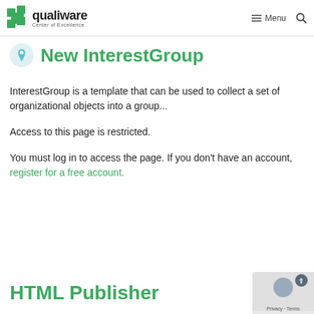qualiware Center of Excellence — Menu
New InterestGroup
InterestGroup is a template that can be used to collect a set of organizational objects into a group...
Access to this page is restricted.
You must log in to access the page. If you don't have an account, register for a free account.
HTML Publisher